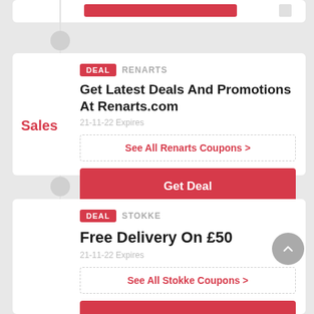[Figure (screenshot): Partial top card with red bar visible]
Sales
DEAL RENARTS
Get Latest Deals And Promotions At Renarts.com
21-11-22 Expires
See All Renarts Coupons >
Get Deal
£50
DEAL STOKKE
Free Delivery On £50
21-11-22 Expires
See All Stokke Coupons >